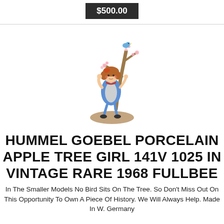$500.00
[Figure (photo): Hummel Goebel porcelain figurine of a girl sitting in an apple tree with a bird on top, colorful ceramic piece on a round base]
HUMMEL GOEBEL PORCELAIN APPLE TREE GIRL 141V 1025 IN VINTAGE RARE 1968 FULLBEE
In The Smaller Models No Bird Sits On The Tree. So Don't Miss Out On This Opportunity To Own A Piece Of History. We Will Always Help. Made In W. Germany